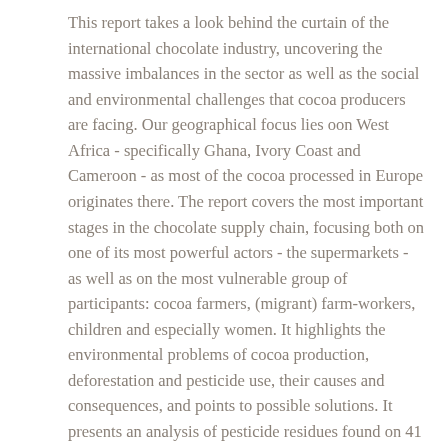This report takes a look behind the curtain of the international chocolate industry, uncovering the massive imbalances in the sector as well as the social and environmental challenges that cocoa producers are facing. Our geographical focus lies oon West Africa - specifically Ghana, Ivory Coast and Cameroon - as most of the cocoa processed in Europe originates there. The report covers the most important stages in the chocolate supply chain, focusing both on one of its most powerful actors - the supermarkets - as well as on the most vulnerable group of participants: cocoa farmers, (migrant) farm-workers, children and especially women. It highlights the environmental problems of cocoa production, deforestation and pesticide use, their causes and consequences, and points to possible solutions. It presents an analysis of pesticide residues found on 41 Austrian chocolate bars and Easter Bunnies and an overview of the sustainability programmes of Austrian retailers towards cocoa. Besides the social problems, as poverty, child labour and exploitation of farm-workers, it